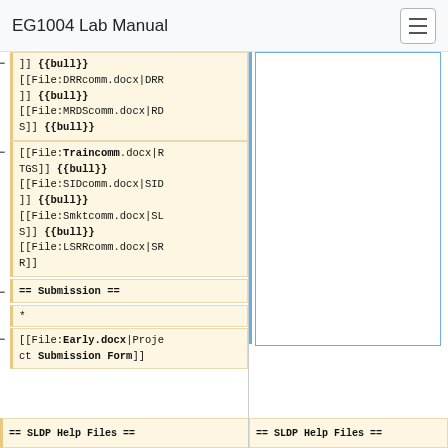EG1004 Lab Manual
]] {{bull}} [[File:DRRcomm.docx|DRR]] {{bull}} [[File:MRDScomm.docx|RDS]] {{bull}} [[File:Traincomm.docx|RTGS]] {{bull}} [[File:SIDcomm.docx|SID]] {{bull}} [[File:Smktcomm.docx|SLS]] {{bull}} [[File:LSRRcomm.docx|SRR]]
== Submission ==
*
[[File:Early.docx|Project Submission Form]]
== SLDP Help Files ==
== SLDP Help Files ==